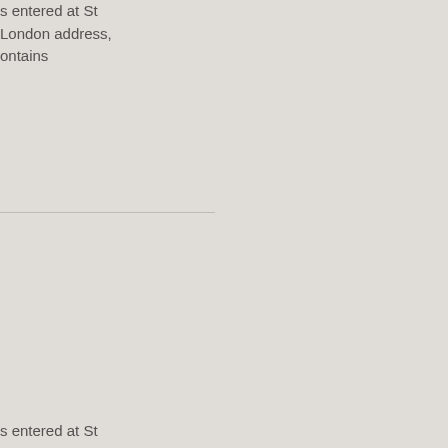s entered at St
London address,
ontains
s entered at St
London address,
ontains
s entered at St
, London
marks. Contains